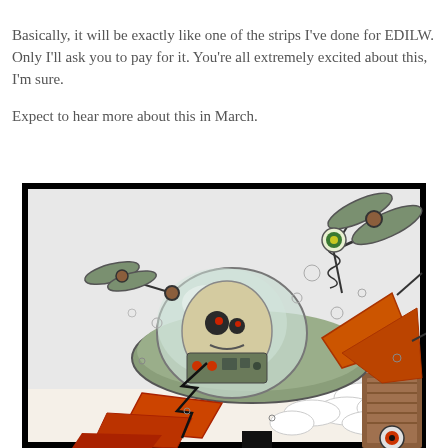Basically, it will be exactly like one of the strips I've done for EDILW. Only I'll ask you to pay for it. You're all extremely excited about this, I'm sure.

Expect to hear more about this in March.
[Figure (illustration): Comic book style illustration of a cartoon alien or creature piloting a futuristic flying saucer/spacecraft with propellers, antennae, and mechanical details. The craft is shown at a dynamic angle with clouds visible in the lower right. The image has a thick black border.]